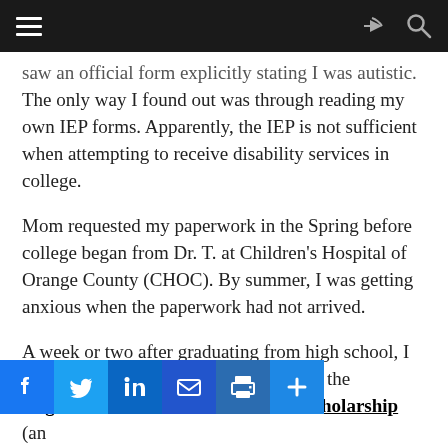Navigation bar with hamburger menu, share and search icons
saw an official form explicitly stating I was autistic. The only way I found out was through reading my own IEP forms. Apparently, the IEP is not sufficient when attempting to receive disability services in college.
Mom requested my paperwork in the Spring before college began from Dr. T. at Children's Hospital of Orange County (CHOC). By summer, I was getting anxious when the paperwork had not arrived.
A week or two after graduating from high school, I discovered I was one of the finalists for the Organization for Autism Research scholarship (an  ...tion-s...f...h...s. In order to move on through the...